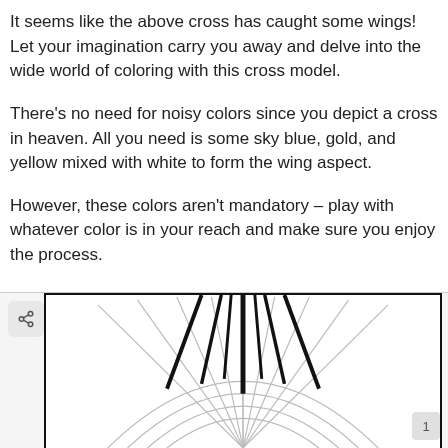It seems like the above cross has caught some wings! Let your imagination carry you away and delve into the wide world of coloring with this cross model.
There’s no need for noisy colors since you depict a cross in heaven. All you need is some sky blue, gold, and yellow mixed with white to form the wing aspect.
However, these colors aren’t mandatory – play with whatever color is in your reach and make sure you enjoy the process.
[Figure (illustration): A coloring page illustration showing a cross with wing-like radiating lines forming a fan/sunburst pattern at the bottom, viewed from above. Black bold vertical and diagonal lines extend downward over a gray curved sunburst outline.]